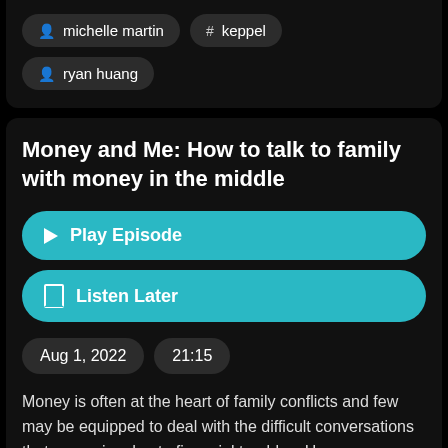michelle martin
# keppel
ryan huang
Money and Me: How to talk to family with money in the middle
Play Episode
Listen Later
Aug 1, 2022
21:15
Money is often at the heart of family conflicts and few may be equipped to deal with the difficult conversations that may arise due to financial troubles. How can you improve your ability to hold